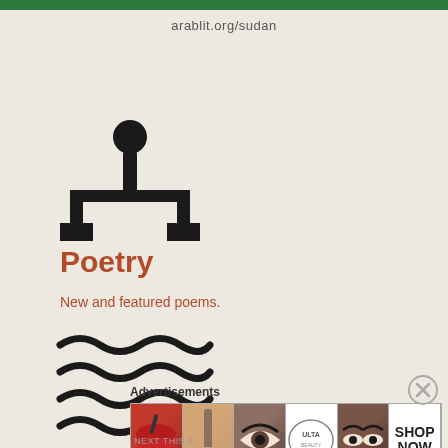arablit.org/sudan
[Figure (illustration): Network/junction node icon — a circle on top with three arms extending down to three square endpoints, resembling a tripod or network topology symbol, in black]
Poetry
New and featured poems.
[Figure (illustration): Wave/water icon — four horizontal wavy lines stacked, resembling water waves, in black]
Advertisements
[Figure (infographic): Advertisement banner showing beauty/makeup imagery: lips with lipstick, powder brush, eye with eyebrow, Ulta Beauty logo, eyes with makeup, and SHOP NOW text]